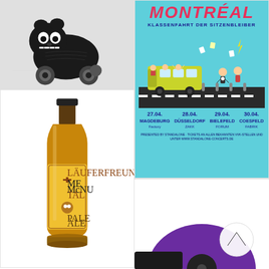[Figure (photo): Black wooden skull-face toy duck/elephant on four wheels against grey background]
[Figure (photo): Montreal concert poster with cyan background, illustration of school bus with cartoon characters, tour dates: 27.04 Magdeburg Factory, 28.04 Düsseldorf ZAKK, 29.04 Bielefeld Forum, 30.04 Coesfeld Fabrik, subtitle Klassenfahrt der Sitzenbleiber]
[Figure (photo): Beer bottle labeled Läuferfreunde Metal McNU TAL Pale Ale, yellow/gold label with skull artwork]
[Figure (photo): Black snare drum with skull and bones illustration pattern, metal hardware]
[Figure (photo): Partial view of purple vinyl record and dark object at bottom, with white chevron/arrow up icon overlay]